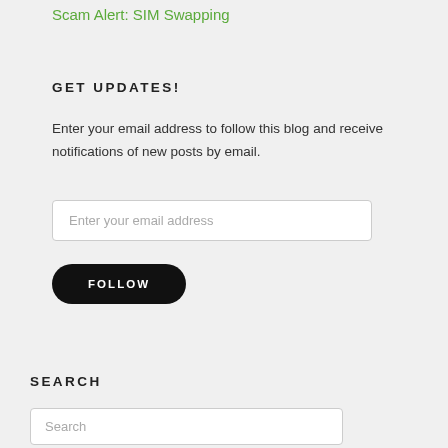Scam Alert: SIM Swapping
GET UPDATES!
Enter your email address to follow this blog and receive notifications of new posts by email.
Enter your email address
FOLLOW
SEARCH
Search